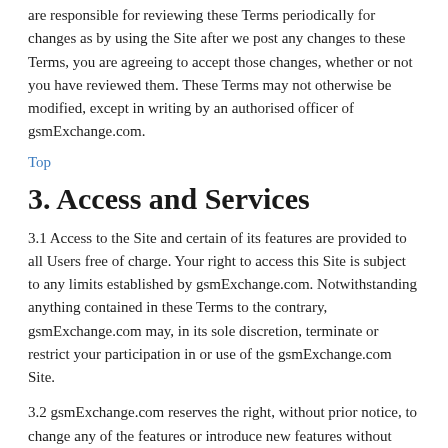are responsible for reviewing these Terms periodically for changes as by using the Site after we post any changes to these Terms, you are agreeing to accept those changes, whether or not you have reviewed them. These Terms may not otherwise be modified, except in writing by an authorised officer of gsmExchange.com.
Top
3. Access and Services
3.1 Access to the Site and certain of its features are provided to all Users free of charge. Your right to access this Site is subject to any limits established by gsmExchange.com. Notwithstanding anything contained in these Terms to the contrary, gsmExchange.com may, in its sole discretion, terminate or restrict your participation in or use of the gsmExchange.com Site.
3.2 gsmExchange.com reserves the right, without prior notice, to change any of the features or introduce new features without prior notice, or to restrict, deny or create access to certain areas or features of the Site (the "Premium Services")